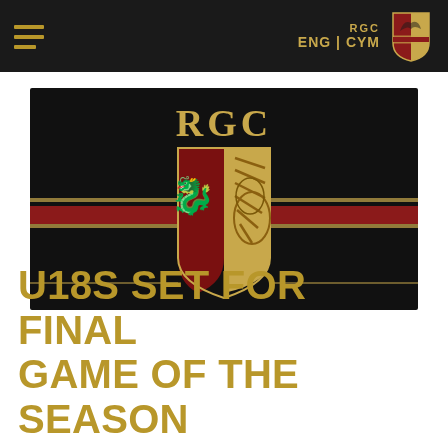RGC ENG | CYM
[Figure (logo): RGC rugby club logo on black background with gold and red horizontal stripe. Shield emblem featuring a stylised dragon/wolf head in gold and red with Celtic knotwork patterns. 'RGC' text above in gold lettering.]
U18S SET FOR FINAL GAME OF THE SEASON